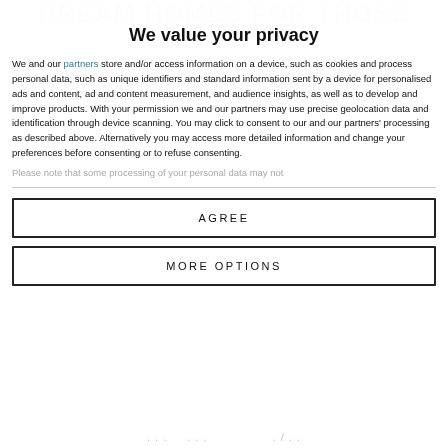DREAM HOMES FOR THOSE
We value your privacy
We and our partners store and/or access information on a device, such as cookies and process personal data, such as unique identifiers and standard information sent by a device for personalised ads and content, ad and content measurement, and audience insights, as well as to develop and improve products. With your permission we and our partners may use precise geolocation data and identification through device scanning. You may click to consent to our and our partners' processing as described above. Alternatively you may access more detailed information and change your preferences before consenting or to refuse consenting.
Please note that some processing of your personal data may not
AGREE
MORE OPTIONS
...